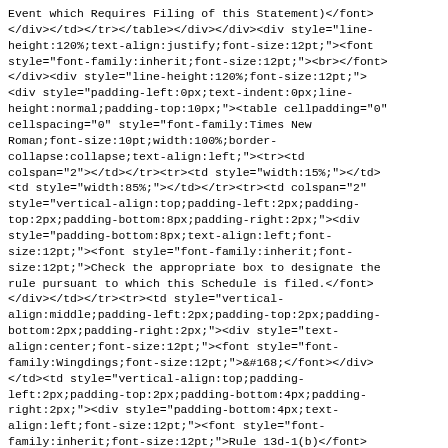Event which Requires Filing of this Statement)</font></div></td></tr></table></div></div><div style="line-height:120%;text-align:justify;font-size:12pt;"><font style="font-family:inherit;font-size:12pt;"><br></font></div><div style="line-height:120%;font-size:12pt;"><div style="padding-left:0px;text-indent:0px;line-height:normal;padding-top:10px;"><table cellpadding="0" cellspacing="0" style="font-family:Times New Roman;font-size:10pt;width:100%;border-collapse:collapse;text-align:left;"><tr><td colspan="2"></td></tr><tr><td style="width:15%;"></td><td style="width:85%;"></td></tr><tr><td colspan="2" style="vertical-align:top;padding-left:2px;padding-top:2px;padding-bottom:8px;padding-right:2px;"><div style="padding-bottom:8px;text-align:left;font-size:12pt;"><font style="font-family:inherit;font-size:12pt;">Check the appropriate box to designate the rule pursuant to which this Schedule is filed.</font></div></td></tr><tr><td style="vertical-align:middle;padding-left:2px;padding-top:2px;padding-bottom:2px;padding-right:2px;"><div style="text-align:center;font-size:12pt;"><font style="font-family:Wingdings;font-size:12pt;">&#168;</font></div></td><td style="vertical-align:top;padding-left:2px;padding-top:2px;padding-bottom:4px;padding-right:2px;"><div style="padding-bottom:4px;text-align:left;font-size:12pt;"><font style="font-family:inherit;font-size:12pt;">Rule 13d-1(b)</font></div></td></tr><tr><td style="vertical-align:middle;padding-left:2px;padding-top:2px;padding-